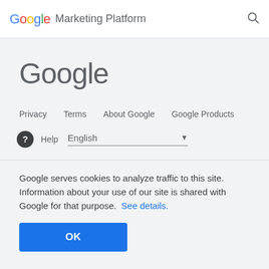Google Marketing Platform
Google
Privacy   Terms   About Google   Google Products
? Help   English ▼
Google serves cookies to analyze traffic to this site. Information about your use of our site is shared with Google for that purpose. See details.
OK